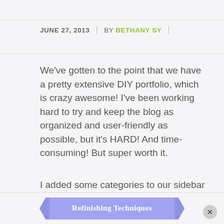JUNE 27, 2013 | BY BETHANY SY
We've gotten to the point that we have a pretty extensive DIY portfolio, which is crazy awesome! I've been working hard to try and keep the blog as organized and user-friendly as possible, but it's HARD! And time-consuming! But super worth it.
I added some categories to our sidebar that will make it easier to search for a project, or get ideas for your own project!
[Figure (illustration): A blue/purple ribbon-style banner image reading 'Furniture Gallery' in white serif-style bold text, followed by a second banner at bottom reading 'Refinishing Techniques' in lighter purple text.]